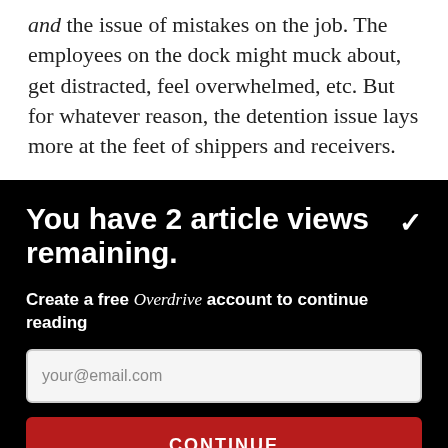and the issue of mistakes on the job. The employees on the dock might muck about, get distracted, feel overwhelmed, etc. But for whatever reason, the detention issue lays more at the feet of shippers and receivers.
You have 2 article views remaining.
Create a free Overdrive account to continue reading
your@email.com
CONTINUE